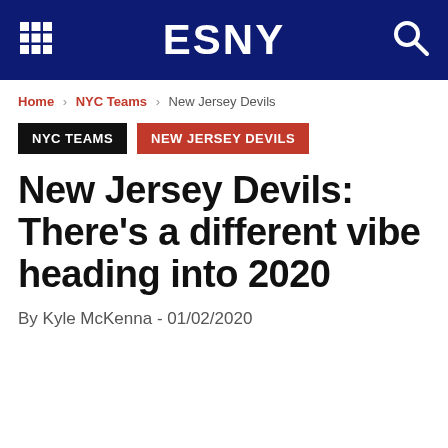ESNY
Home › NYC Teams › New Jersey Devils
NYC TEAMS   NEW JERSEY DEVILS
New Jersey Devils: There's a different vibe heading into 2020
By Kyle McKenna - 01/02/2020